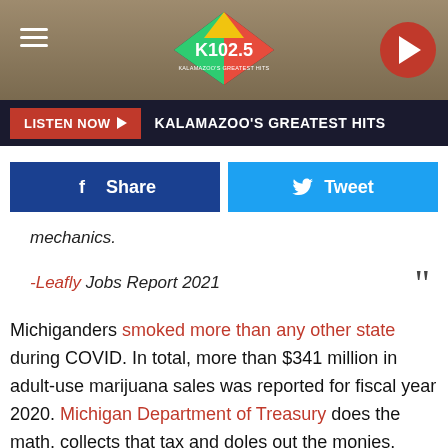[Figure (logo): K102.5 Kalamazoo's Greatest Hits radio station header with hamburger menu, logo, and play button]
[Figure (screenshot): Listen Now bar with red button and text KALAMAZOO'S GREATEST HITS]
[Figure (infographic): Facebook Share and Twitter Tweet buttons]
mechanics.
-Leafly Jobs Report 2021
Michiganders smoked more than any other state during COVID. In total, more than $341 million in adult-use marijuana sales was reported for fiscal year 2020. Michigan Department of Treasury does the math, collects that tax and doles out the monies. Aside from the nearly $10 million in disbursements to municipalities and counties, around $11.6 million will be sent to the School Aid Fund for K-12 education and another $11.6 million to the Michigan Transportation